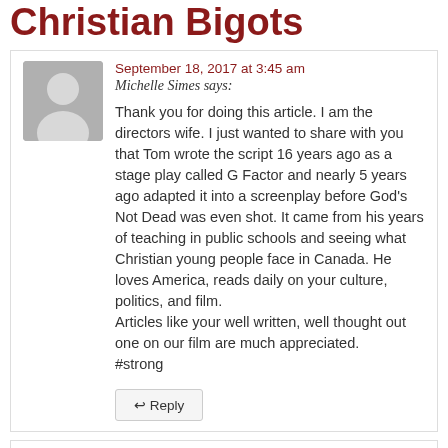Christian Bigots
September 18, 2017 at 3:45 am
Michelle Simes says:

Thank you for doing this article. I am the directors wife. I just wanted to share with you that Tom wrote the script 16 years ago as a stage play called G Factor and nearly 5 years ago adapted it into a screenplay before God's Not Dead was even shot. It came from his years of teaching in public schools and seeing what Christian young people face in Canada. He loves America, reads daily on your culture, politics, and film.
Articles like your well written, well thought out one on our film are much appreciated.
#strong
Pingback: Because of Gracia: Standing up for Your Faith